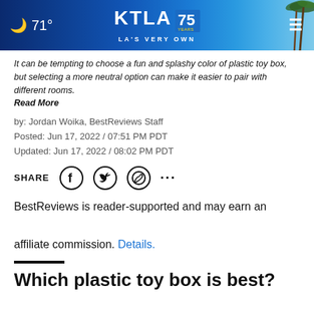71° KTLA 75 YEARS LA'S VERY OWN
It can be tempting to choose a fun and splashy color of plastic toy box, but selecting a more neutral option can make it easier to pair with different rooms.
Read More
by: Jordan Woika, BestReviews Staff
Posted: Jun 17, 2022 / 07:51 PM PDT
Updated: Jun 17, 2022 / 08:02 PM PDT
SHARE
BestReviews is reader-supported and may earn an affiliate commission. Details.
Which plastic toy box is best?